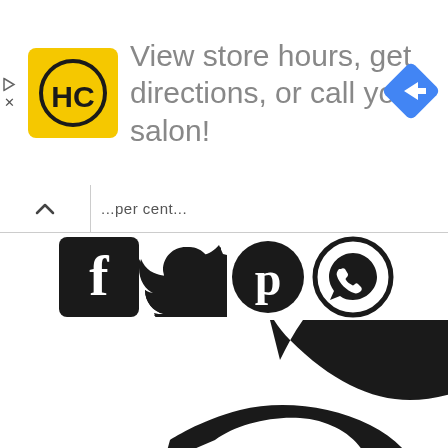[Figure (screenshot): Advertisement banner with HC salon logo (yellow square with HC letters in circle), text 'View store hours, get directions, or call your salon!', and a blue navigation arrow diamond icon on the right. Small play and X icons on the far left edge.]
[Figure (screenshot): Web page UI element: search/navigation bar with upward chevron on left and truncated text input area showing partial text.]
[Figure (infographic): Row of social media icons: Facebook (black square with f), Twitter (black bird), Pinterest (black P circle), WhatsApp (black phone-in-circle).]
[Figure (logo): Large black and white logo/wordmark, heavily cropped, showing bold curved letter forms in black on white background — appears to be a large stylized brand logo.]